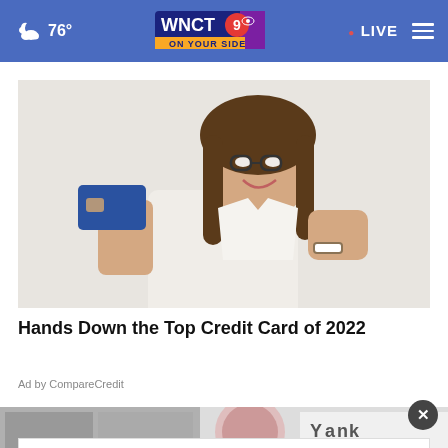76° WNCT 9 ON YOUR SIDE · LIVE
[Figure (photo): Woman with glasses smiling, holding up a blue credit card and pointing at it with her other hand, wearing a white button-up shirt]
Hands Down the Top Credit Card of 2022
Ad by CompareCredit
[Figure (photo): Partial bottom strip showing bathroom renovation images and a Yankee Candle or similar brand logo]
Click for autumn specials.
[Figure (logo): RE·BATH logo in red oval border with dashed arrow]